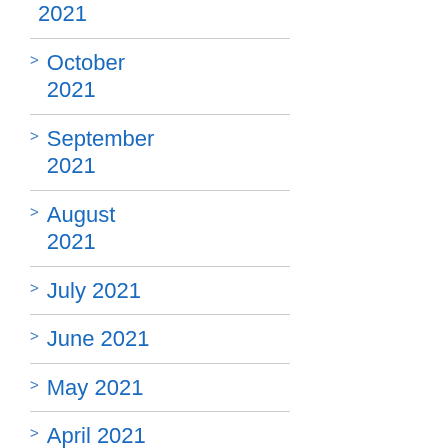2021
October 2021
September 2021
August 2021
July 2021
June 2021
May 2021
April 2021
March 2021